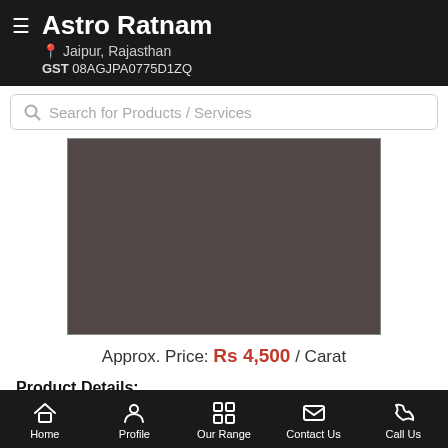Astro Ratnam, Jaipur, Rajasthan, GST 08AGJPA0775D1ZQ
Search for Products / Services
[Figure (photo): Dark brownish-grey product image placeholder]
Approx. Price: Rs 4,500 / Carat
Product Details:
Color: RED, Purple, Pink etc
Home  Profile  Our Range  Contact Us  Call Us